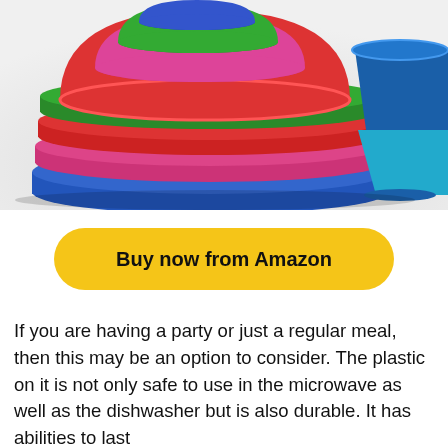[Figure (photo): Colorful plastic bowls, plates, and cups stacked together in green, red, pink, blue, and teal colors on a white/light gray background.]
Buy now from Amazon
If you are having a party or just a regular meal, then this may be an option to consider. The plastic on it is not only safe to use in the microwave as well as the dishwasher but is also durable. It has abilities to last